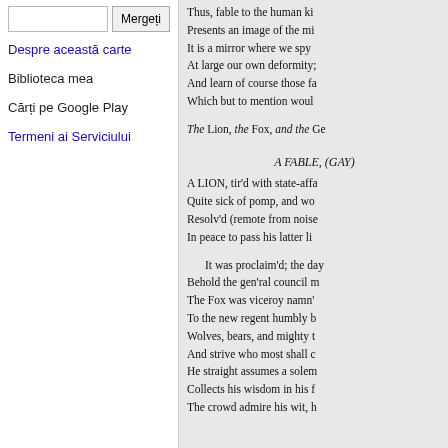[search box] Mergeți
Despre această carte
Biblioteca mea
Cărți pe Google Play
Termeni ai Serviciului
Thus, fable to the human ki
Presents an image of the mi
It is a mirror where we spy
At large our own deformity;
And learn of course those fa
Which but to mention woul
The Lion, the Fox, and the Ge
A FABLE, (GAY)
A LION, tir'd with state-affa
Quite sick of pomp, and wo
Resolv'd (remote from noise
In peace to pass his latter li
It was proclaim'd; the day
Behold the gen'ral council m
The Fox was viceroy namn'
To the new regent humbly b
Wolves, bears, and mighty t
And strive who most shall c
He straight assumes a solem
Collects his wisdom in his f
The crowd admire his wit, h